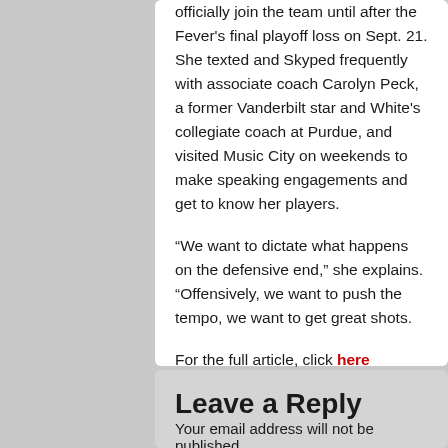officially join the team until after the Fever's final playoff loss on Sept. 21. She texted and Skyped frequently with associate coach Carolyn Peck, a former Vanderbilt star and White's collegiate coach at Purdue, and visited Music City on weekends to make speaking engagements and get to know her players.
“We want to dictate what happens on the defensive end,” she explains. “Offensively, we want to push the tempo, we want to get great shots.
For the full article, click here
Leave a Reply
Your email address will not be published.